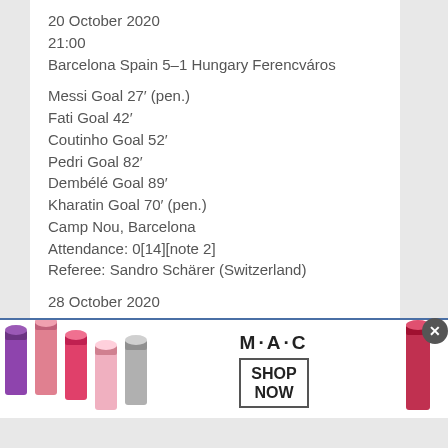20 October 2020
21:00
Barcelona Spain 5–1 Hungary Ferencváros
Messi Goal 27′ (pen.)
Fati Goal 42′
Coutinho Goal 52′
Pedri Goal 82′
Dembélé Goal 89′
Kharatin Goal 70′ (pen.)
Camp Nou, Barcelona
Attendance: 0[14][note 2]
Referee: Sandro Schärer (Switzerland)
28 October 2020
[Figure (photo): MAC Cosmetics advertisement showing lipsticks in purple, pink, and red colors with M·A·C logo and SHOP NOW button]